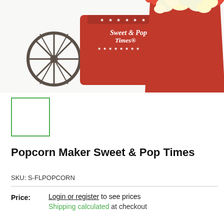[Figure (photo): Red vintage-style popcorn maker machine with wagon wheel on the left and a red scalloped popcorn box on the right, with popcorn spilling out. White background.]
[Figure (photo): Small thumbnail image of the popcorn maker, selected with green border.]
Popcorn Maker Sweet & Pop Times
SKU: S-FLPOPCORN
Price: Login or register to see prices
Shipping calculated at checkout